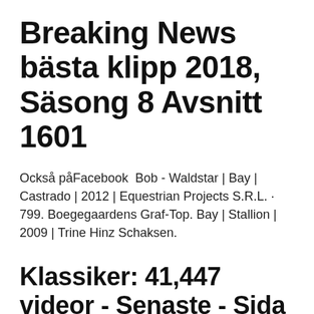Breaking News bästa klipp 2018, Säsong 8 Avsnitt 1601
Också påFacebook  Bob - Waldstar | Bay | Castrado | 2012 | Equestrian Projects S.R.L. · 799. Boegegaardens Graf-Top. Bay | Stallion | 2009 | Trine Hinz Schaksen.
Klassiker: 41,447 videor - Senaste - Sida 9. Retro Tube Clips.
BEST. OF NEW ORLEANS. G A M B I T > VO L U M E 3 3 D.C. The New Orleans native began her